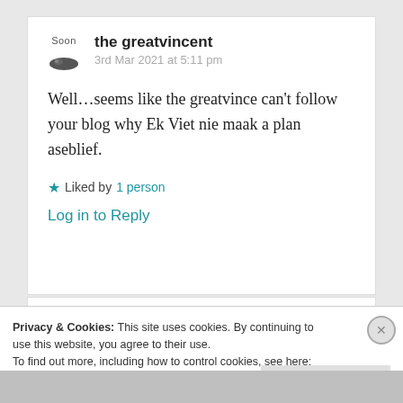the greatvincent
3rd Mar 2021 at 5:11 pm
Well…seems like the greatvince can't follow your blog why Ek Viet nie maak a plan aseblief.
★ Liked by 1 person
Log in to Reply
Privacy & Cookies: This site uses cookies. By continuing to use this website, you agree to their use.
To find out more, including how to control cookies, see here: Cookie Policy
Close and accept